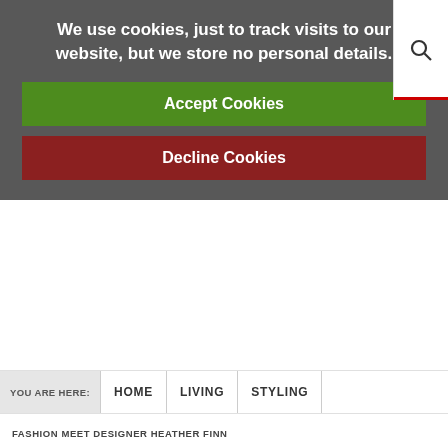We use cookies, just to track visits to our website, but we store no personal details.
Accept Cookies
Decline Cookies
YOU ARE HERE: HOME LIVING STYLING
FASHION MEET DESIGNER HEATHER FINN
FASHION Meet designer Heather Finn
LIVING / 23 NOVEMBER 2009
STYLING